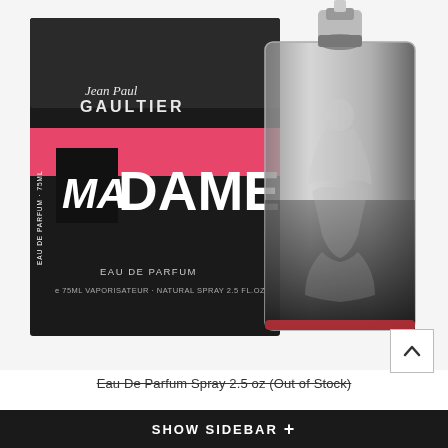[Figure (photo): Jean Paul Gaultier MaDame Eau De Parfum product photo showing the black and pink perfume box with 'Ma Dame' branding and the glass fragrance bottle with a female torso silhouette inside, 75ml / 2.5 fl oz, Vaporisateur Natural Spray]
Eau De Parfum Spray 2.5 oz (Out of Stock)
SHOW SIDEBAR +